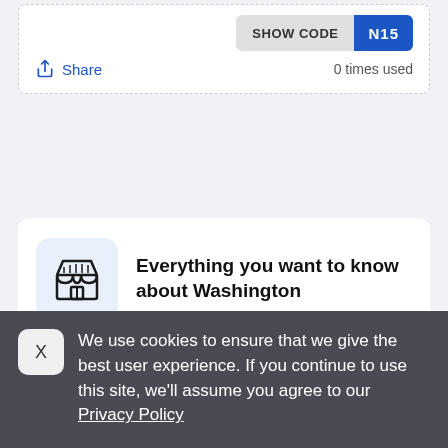[Figure (screenshot): SHOW CODE button with 'N15' coupon code label]
Share   0 times used
Everything you want to know about Washington
Know everything about Coupon codes, offers and discounts at Washington
We use cookies to ensure that we give the best user experience. If you continue to use this site, we'll assume you agree to our Privacy Policy